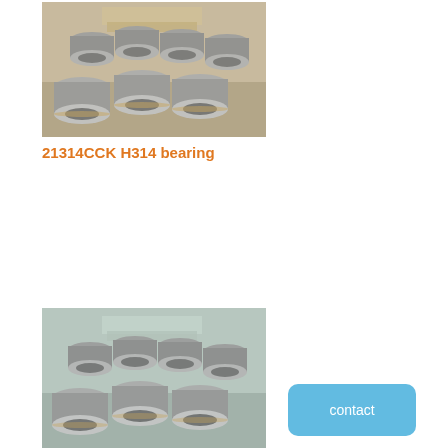[Figure (photo): Photograph of stacked industrial bearings in a warehouse/factory setting, multiple rows of large steel roller bearings piled on wooden pallets]
21314CCK H314 bearing
[Figure (photo): Photograph of stacked industrial bearings in a factory setting, similar to the top image, showing multiple steel roller bearings arranged in stacks]
contact